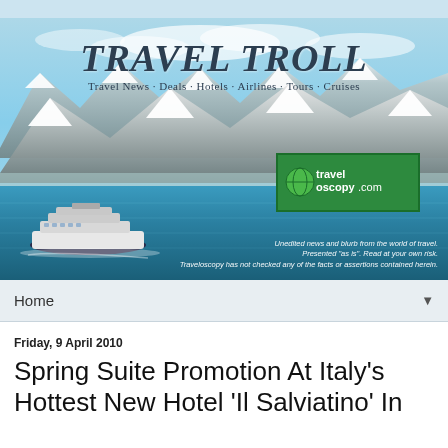[Figure (photo): Travel Troll website banner showing a cruise ship on glacial blue water with snow-capped mountains in background. Includes Travel Troll logo/title text, Traveloscopy.com logo box, and disclaimer text.]
Home
Friday, 9 April 2010
Spring Suite Promotion At Italy's Hottest New Hotel 'Il Salviatino' In